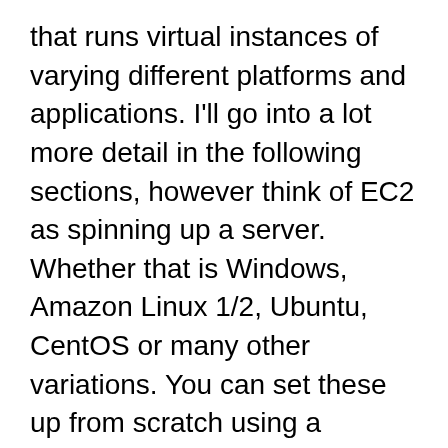that runs virtual instances of varying different platforms and applications. I'll go into a lot more detail in the following sections, however think of EC2 as spinning up a server. Whether that is Windows, Amazon Linux 1/2, Ubuntu, CentOS or many other variations. You can set these up from scratch using a recently updated Image with the latest version and all patches, or a specific supported version.
EC2 also underpins a lot of how AWS runs other services. They use the same basic concept of running a virtual machine on host hardware at various other levels. Some of these are managed